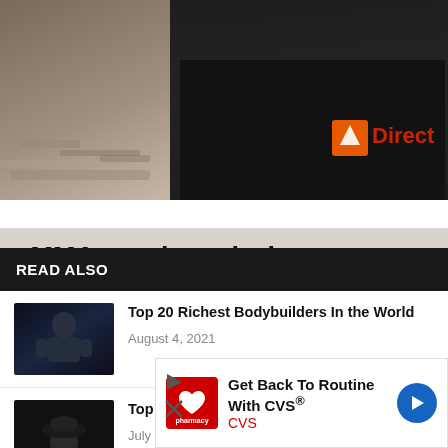[Figure (photo): Top image showing a person wearing a black shirt with DirectR logo on the right side, against a cluttered background]
[Figure (screenshot): READ ALSO overlay panel with dark header bar and X close button, containing two article links with thumbnails]
Top 20 Richest Bodybuilders In the World — August 4, 2021
Top 10 Most Expensive Hats In The... — July 1, 2020
MMA purchased when
Even if he was said to
ll has an unbelievable
-old if it is accurate.
role in bodybuilding as
rticipated in
Some even took it
media.
[Figure (screenshot): CVS Pharmacy advertisement: Get Back To Routine With CVS®, CVS logo, navigation arrow icon]
[Figure (photo): Background image of billboard with text including TO YOUNGER, BILLIONAIRES, IN THE, WORLD]